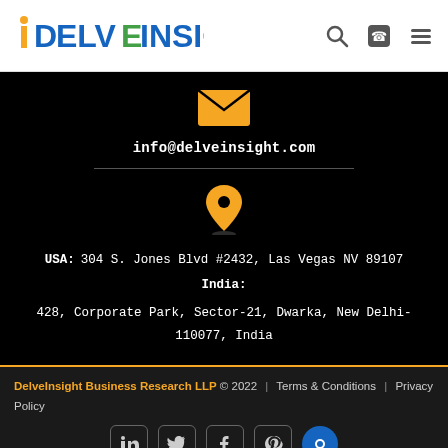DelveInsight
info@delveinsight.com
USA: 304 S. Jones Blvd #2432, Las Vegas NV 89107
India: 428, Corporate Park, Sector-21, Dwarka, New Delhi-110077, India
DelveInsight Business Research LLP © 2022 | Terms & Conditions | Privacy Policy